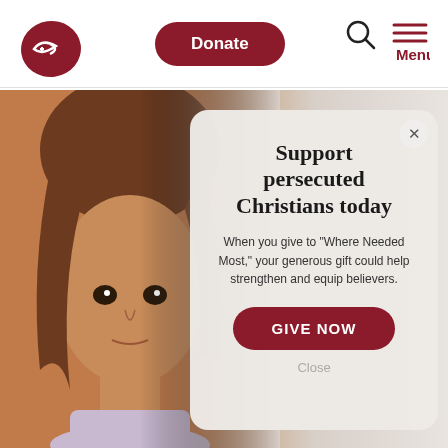[Figure (logo): Open Doors fish/cross logo in dark red]
Donate
[Figure (illustration): Search icon (magnifying glass) and hamburger menu icon with Menu label in dark red]
[Figure (photo): Close-up photo of a young girl with brown hair looking at camera, warm brown tones]
Support persecuted Christians today
When you give to "Where Needed Most," your generous gift could help strengthen and equip believers.
GIVE NOW
Close